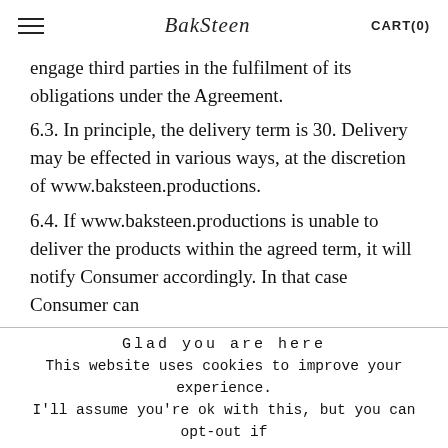≡  BakSteen  CART(0)
engage third parties in the fulfilment of its obligations under the Agreement.
6.3. In principle, the delivery term is 30. Delivery may be effected in various ways, at the discretion of www.baksteen.productions.
6.4. If www.baksteen.productions is unable to deliver the products within the agreed term, it will notify Consumer accordingly. In that case Consumer can
Glad you are here
This website uses cookies to improve your experience. I'll assume you're ok with this, but you can opt-out if you wish. Cookie settings  ACCEPT